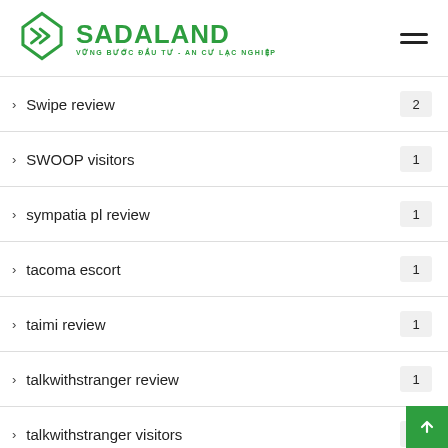[Figure (logo): Sadaland logo with green diamond icon and green text 'SADALAND' with tagline 'VỮNG BƯỚC ĐẦU TƯ - AN CƯ LẠC NGHIỆP']
Swipe review  2
SWOOP visitors  1
sympatia pl review  1
tacoma escort  1
taimi review  1
talkwithstranger review  1
talkwithstranger visitors  1